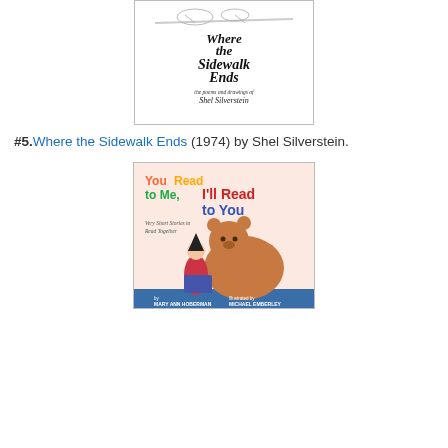[Figure (illustration): Book cover of 'Where the Sidewalk Ends' by Shel Silverstein, showing decorative text and drawings in black and white]
#5.Where the Sidewalk Ends (1974) by Shel Silverstein.
[Figure (illustration): Book cover of 'You Read to Me, I'll Read to You' illustrated children's book showing a girl and a bear reading together]